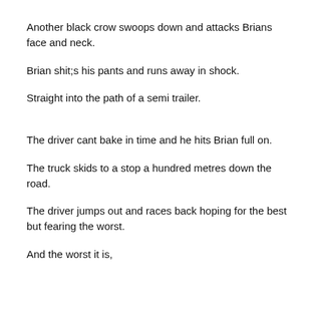Another black crow swoops down and attacks Brians face and neck.
Brian shit;s his pants and runs away in shock.
Straight into the path of a semi trailer.
The driver cant bake in time and he hits Brian full on.
The truck skids to a stop a hundred metres down the road.
The driver jumps out and races back hoping for the best but fearing the worst.
And the worst it is,